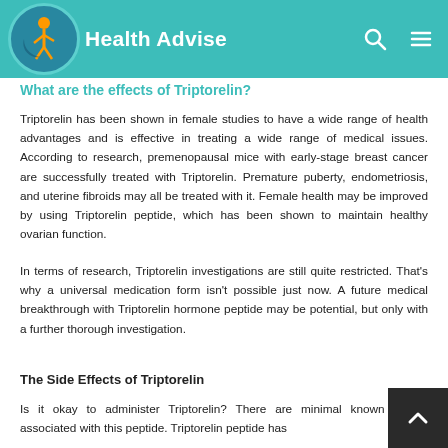Health Advise
What are the effects of Triptorelin?
Triptorelin has been shown in female studies to have a wide range of health advantages and is effective in treating a wide range of medical issues. According to research, premenopausal mice with early-stage breast cancer are successfully treated with Triptorelin. Premature puberty, endometriosis, and uterine fibroids may all be treated with it. Female health may be improved by using Triptorelin peptide, which has been shown to maintain healthy ovarian function.
In terms of research, Triptorelin investigations are still quite restricted. That’s why a universal medication form isn’t possible just now. A future medical breakthrough with Triptorelin hormone peptide may be potential, but only with a further thorough investigation.
The Side Effects of Triptorelin
Is it okay to administer Triptorelin? There are minimal known effects associated with this peptide. Triptorelin peptide has